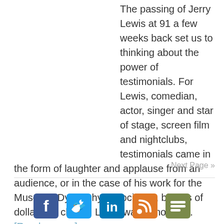The passing of Jerry Lewis at 91 a few weeks back set us to thinking about the power of testimonials. For Lewis, comedian, actor, singer and star of stage, screen film and nightclubs, testimonials came in the form of laughter and applause from an audience, or in the case of his work for the Muscular Dystrophy Association, billions of dollars for charity. Lewis was honored … [Read more...]
Next Page »
[Figure (other): Social media share icons: Facebook, Twitter, LinkedIn, RSS/News feed (orange), and one more (olive/green)]